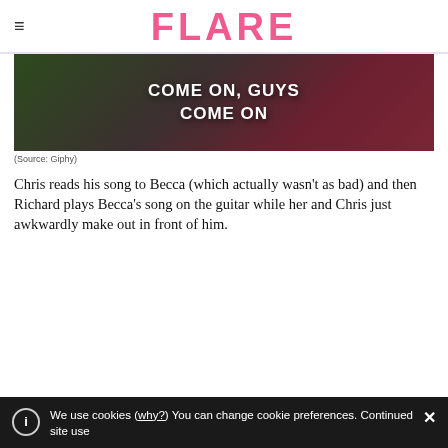FLARE
[Figure (photo): Person in dark red/maroon sleeveless top with text overlay reading 'COME ON, GUYS COME ON']
(Source: Giphy)
Chris reads his song to Becca (which actually wasn't as bad) and then Richard plays Becca's song on the guitar while her and Chris just awkwardly make out in front of him.
We use cookies (why?) You can change cookie preferences. Continued site use